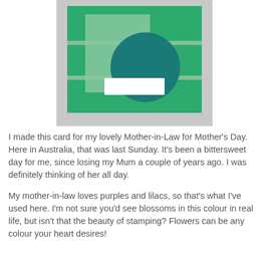[Figure (illustration): A card layout sketch showing a grey background rectangle, inside which is a green rectangle with two thin horizontal grey stripes. A lighter green tilted square sits on the left-center, and a dark teal circle overlaps it in the center. A white rectangular banner sits in front of the circle near the bottom.]
I made this card for my lovely Mother-in-Law for Mother's Day. Here in Australia, that was last Sunday. It's been a bittersweet day for me, since losing my Mum a couple of years ago. I was definitely thinking of her all day.
My mother-in-law loves purples and lilacs, so that's what I've used here. I'm not sure you'd see blossoms in this colour in real life, but isn't that the beauty of stamping? Flowers can be any colour your heart desires!